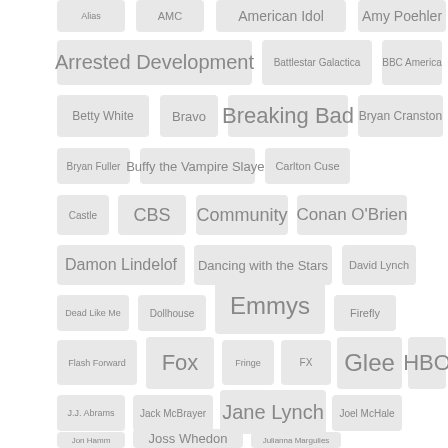[Figure (other): Tag cloud of TV-related terms and personalities including: Alias, AMC, American Idol, Amy Poehler, Arrested Development, Battlestar Galactica, BBC America, Betty White, Bravo, Breaking Bad, Bryan Cranston, Bryan Fuller, Buffy the Vampire Slayer, Carlton Cuse, Castle, CBS, Community, Conan O'Brien, Damon Lindelof, Dancing with the Stars, David Lynch, Dead Like Me, Dollhouse, Emmys, Firefly, Flash Forward, Fox, Fringe, FX, Glee, HBO, J.J. Abrams, Jack McBrayer, Jane Lynch, Joel McHale, Jon Hamm, Joss Whedon, Julianna Margulies. Font sizes vary to indicate frequency/importance.]